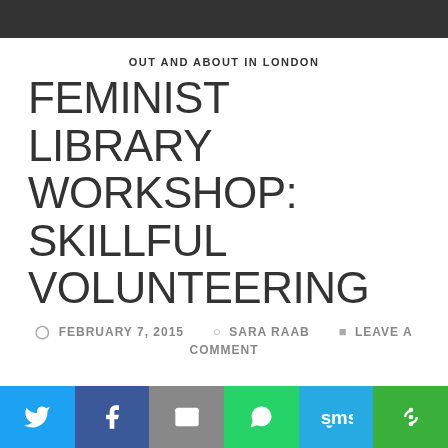OUT AND ABOUT IN LONDON
FEMINIST LIBRARY WORKSHOP: SKILLFUL VOLUNTEERING
FEBRUARY 7, 2015   SARA RAAB   LEAVE A COMMENT
Volunteering is a great way to gain skills, get a feel for a field, and to try new things. After graduating, I was looking for a volunteering role to take on while I job-searched. If an organisation didn't have information about volunteering on their website, I